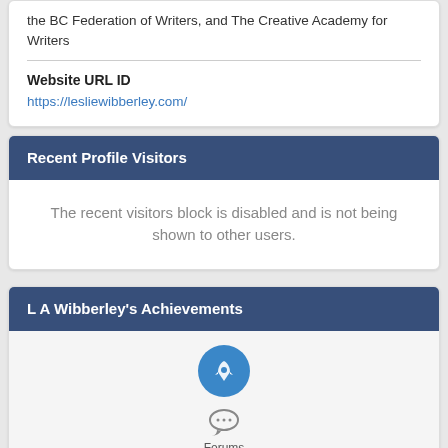the BC Federation of Writers, and The Creative Academy for Writers
Website URL ID
https://lesliewibberley.com/
Recent Profile Visitors
The recent visitors block is disabled and is not being shown to other users.
L A Wibberley's Achievements
[Figure (illustration): Rocket icon in blue circle and Forums chat bubble icon below it]
Forums